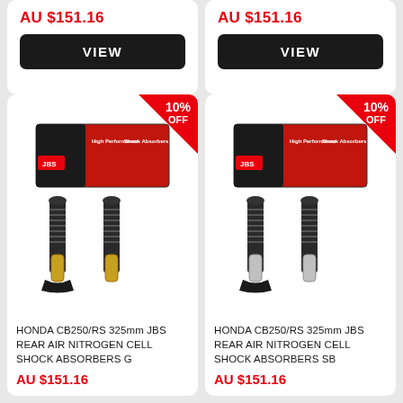AU $151.16
VIEW
AU $151.16
VIEW
[Figure (photo): Honda CB250/RS 325mm JBS Rear Air Nitrogen Cell Shock Absorbers G (gold/black) with product box]
HONDA CB250/RS 325mm JBS REAR AIR NITROGEN CELL SHOCK ABSORBERS G
AU $151.16
[Figure (photo): Honda CB250/RS 325mm JBS Rear Air Nitrogen Cell Shock Absorbers SB (silver/black) with product box]
HONDA CB250/RS 325mm JBS REAR AIR NITROGEN CELL SHOCK ABSORBERS SB
AU $151.16